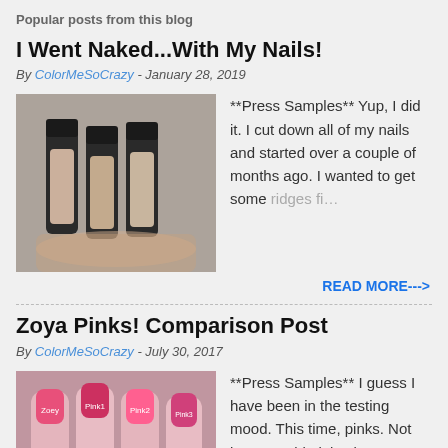Popular posts from this blog
I Went Naked...With My Nails!
By ColorMeSoCrazy - January 28, 2019
[Figure (photo): Nail polish bottles held in hand]
**Press Samples** Yup, I did it. I cut down all of my nails and started over a couple of months ago. I wanted to get some ridges fi…
READ MORE--->
Zoya Pinks! Comparison Post
By ColorMeSoCrazy - July 30, 2017
[Figure (photo): Nails painted in pink shades comparison]
**Press Samples** I guess I have been in the testing mood. This time, pinks. Not just any old pinks, but Zoya pinks! With the release o…